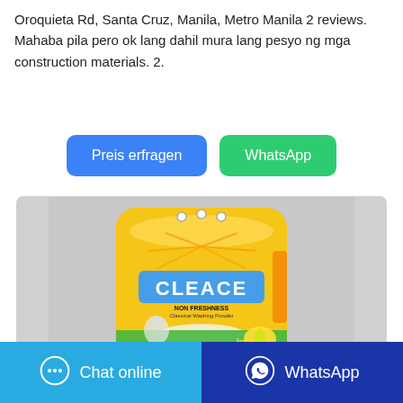Oroquieta Rd, Santa Cruz, Manila, Metro Manila 2 reviews. Mahaba pila pero ok lang dahil mura lang pesyo ng mga construction materials. 2.
[Figure (other): Two buttons: 'Preis erfragen' (blue) and 'WhatsApp' (green)]
[Figure (photo): A yellow bag of CLEACE lemon freshness laundry washing powder on a gray background]
[Figure (other): Bottom navigation bar with 'Chat online' button (light blue) and 'WhatsApp' button (dark blue)]